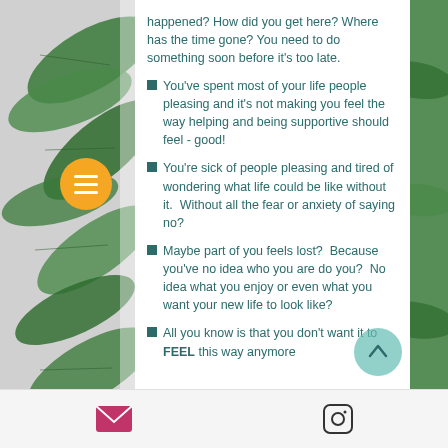happened? How did you get here? Where has the time gone? You need to do something soon before it's too late.
You've spent most of your life people pleasing and it's not making you feel the way helping and being supportive should feel - good!
You're sick of people pleasing and tired of wondering what life could be like without it.  Without all the fear or anxiety of saying no?
Maybe part of you feels lost?  Because you've no idea who you are do you?  No idea what you enjoy or even what you want your new life to look like?
All you know is that you don't want it to FEEL this way anymore